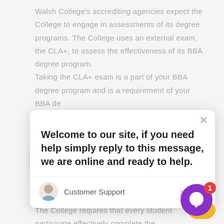Walsh College's accrediting agencies expect the College to engage in assessments of its degree programs. The College uses an external exam, the CLA+, to assess the effectiveness of its BBA degree program. Taking the CLA+ exam is a part of your BBA degree program and is a requirement of your BBA de… is not a… per se. Howev…
[Figure (screenshot): A chat popup widget overlay showing a welcome message from Customer Support: 'Welcome to our site, if you need help simply reply to this message, we are online and ready to help.' with a close (X) button in the top right, an avatar icon, agent name 'Customer Support', and timestamp 'just now'.]
their BBA capstone course, which is MGT 461. The College requires that every student participate effectively complete the
[Figure (other): A purple circular chat bubble icon with a white speech bubble inside, a yellow/gold partial circle beneath, and a red notification badge showing the number 1.]